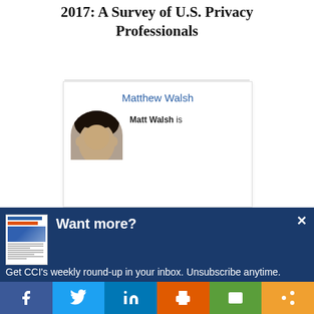2017: A Survey of U.S. Privacy Professionals
Matthew Walsh
Matt Walsh is
[Figure (photo): Headshot photo of Matthew Walsh, a man with dark hair, shown from the chest up.]
Want more?
Get CCI's weekly round-up in your inbox. Unsubscribe anytime.
[Figure (screenshot): Small thumbnail image of a newsletter or document.]
Facebook | Twitter | LinkedIn | Print | Email | Share